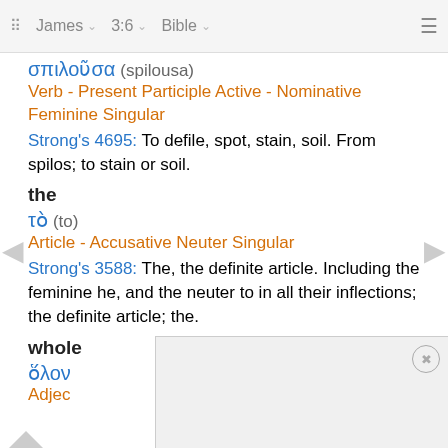James 3:6 Bible
σπιλοῦσα (spilousa)
Verb - Present Participle Active - Nominative Feminine Singular
Strong's 4695: To defile, spot, stain, soil. From spilos; to stain or soil.
the
τὸ (to)
Article - Accusative Neuter Singular
Strong's 3588: The, the definite article. Including the feminine he, and the neuter to in all their inflections; the definite article; the.
whole
ὅλον
Adjec